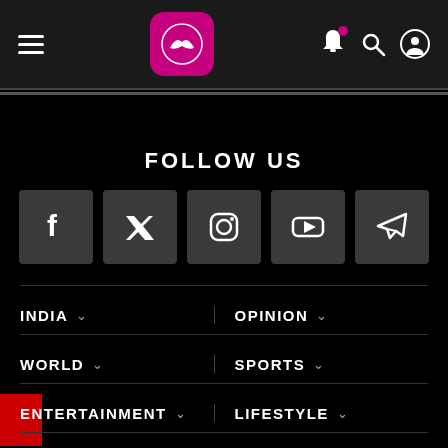[Figure (screenshot): Navigation bar with hamburger menu, pink/magenta logo with kangaroo icon, bell notification icon, search icon, and user profile icon]
FOLLOW US
[Figure (infographic): Social media icons: Facebook, Twitter, Instagram, YouTube, Telegram on dark grey square backgrounds]
INDIA
OPINION
WORLD
SPORTS
ENTERTAINMENT
LIFESTYLE
TECHNOLOGY
CULTURE